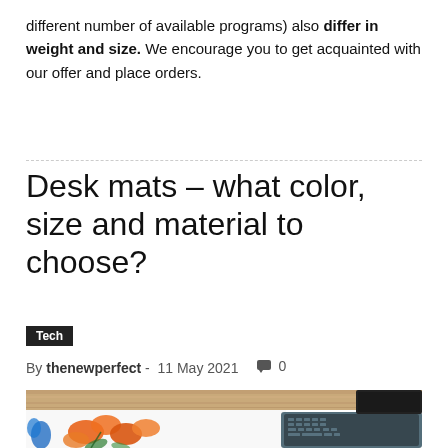different number of available programs) also differ in weight and size. We encourage you to get acquainted with our offer and place orders.
Desk mats – what color, size and material to choose?
Tech
By thenewperfect - 11 May 2021   0
[Figure (photo): A colorful floral desk mat with orange and blue painted flowers next to a laptop on a wooden desk surface]